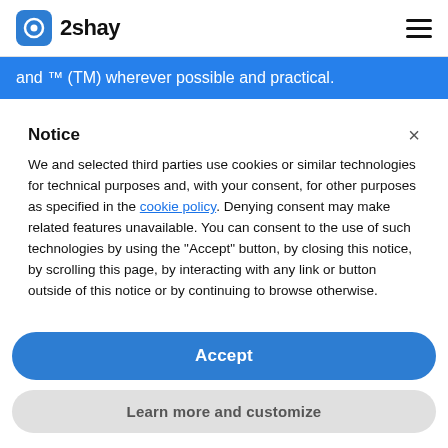2shay
and ™ (TM) wherever possible and practical.
Notice
We and selected third parties use cookies or similar technologies for technical purposes and, with your consent, for other purposes as specified in the cookie policy. Denying consent may make related features unavailable. You can consent to the use of such technologies by using the "Accept" button, by closing this notice, by scrolling this page, by interacting with any link or button outside of this notice or by continuing to browse otherwise.
Accept
Learn more and customize